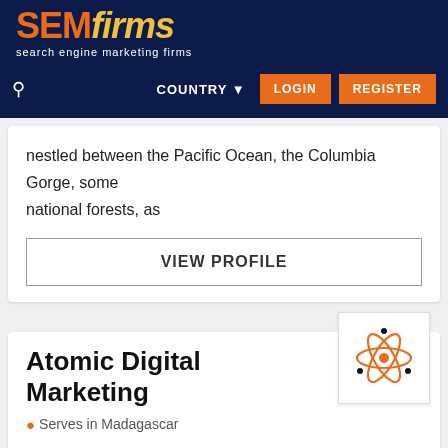SEMfirms - search engine marketing firms
nestled between the Pacific Ocean, the Columbia Gorge, some national forests, as
VIEW PROFILE
Atomic Digital Marketing
Serves in Madagascar
5  26 REVIEW(S)
Atomic is an industry disrupting Digital Marketing Agency in